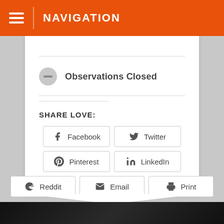NAVIGATION
Observations Closed
SHARE LOVE:
Facebook
Twitter
Pinterest
LinkedIn
Reddit
Email
Print
[Figure (photo): Dark background image at bottom of page, partially visible]